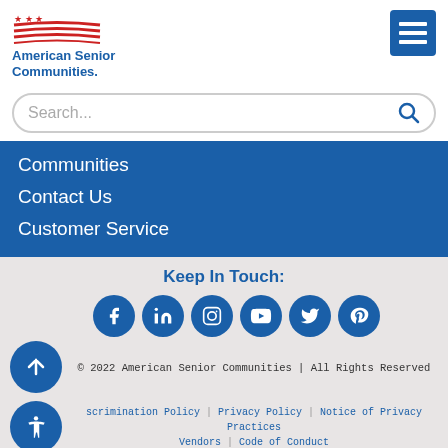[Figure (logo): American Senior Communities logo with flag graphic and blue text]
Search...
Communities
Contact Us
Customer Service
Keep In Touch:
[Figure (infographic): Social media icons: Facebook, LinkedIn, Instagram, YouTube, Twitter, Pinterest, plus up-arrow and accessibility icons]
© 2022 American Senior Communities | All Rights Reserved
scrimination Policy | Privacy Policy | Notice of Privacy Practices | Vendors | Code of Conduct